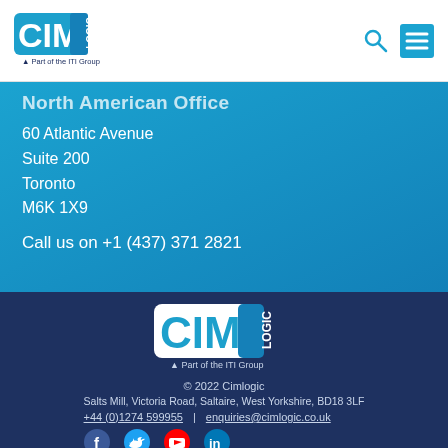CIM Logic – Part of the ITI Group
North American Office
60 Atlantic Avenue
Suite 200
Toronto
M6K 1X9
Call us on +1 (437) 371 2821
[Figure (logo): CIMLogic – Part of the ITI Group logo in white, centered in the dark navy footer]
© 2022 Cimlogic
Salts Mill, Victoria Road, Saltaire, West Yorkshire, BD18 3LF
+44 (0)1274 599955 | enquiries@cimlogic.co.uk
Facebook, Twitter, YouTube, LinkedIn icons